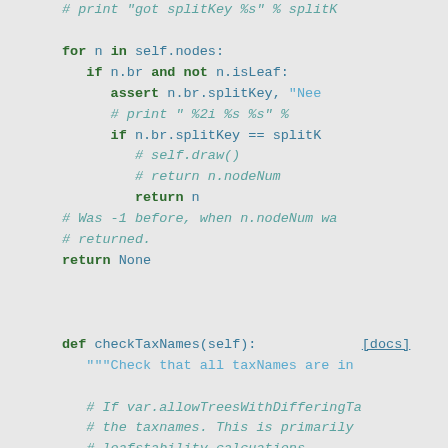[Figure (screenshot): Python source code snippet showing a method body with a for loop iterating over self.nodes, checking n.br and n.isLeaf, asserting n.br.splitKey, comparing n.br.splitKey == splitK, returning n or None. Below is a def checkTaxNames(self) method with docstring and comments about allowTreesWithDifferingTa, taxnames, leafstability calcuations, and Peter comments that Tobias added.]